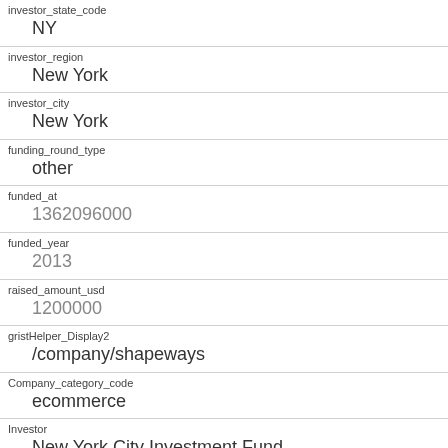investor_state_code
NY
investor_region
New York
investor_city
New York
funding_round_type
other
funded_at
1362096000
funded_year
2013
raised_amount_usd
1200000
gristHelper_Display2
/company/shapeways
Company_category_code
ecommerce
Investor
New York City Investment Fund
https://www.crunchbase.com/financial-